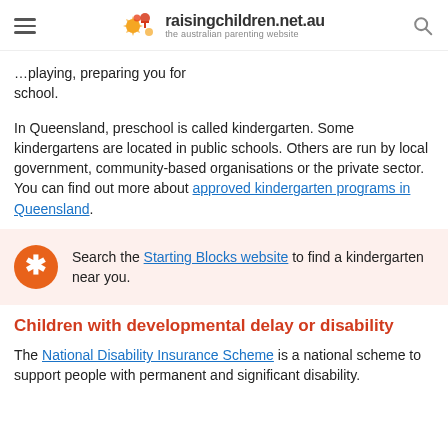raisingchildren.net.au — the australian parenting website
…playing, preparing you for school.
In Queensland, preschool is called kindergarten. Some kindergartens are located in public schools. Others are run by local government, community-based organisations or the private sector. You can find out more about approved kindergarten programs in Queensland.
Search the Starting Blocks website to find a kindergarten near you.
Children with developmental delay or disability
The National Disability Insurance Scheme is a national scheme to support people with permanent and significant disability.